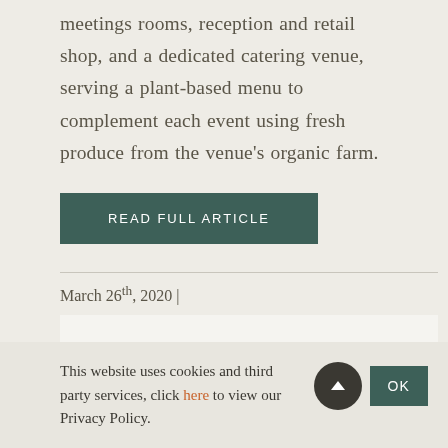meetings rooms, reception and retail shop, and a dedicated catering venue, serving a plant-based menu to complement each event using fresh produce from the venue’s organic farm.
READ FULL ARTICLE
March 26th, 2020 |
This website uses cookies and third party services, click here to view our Privacy Policy.